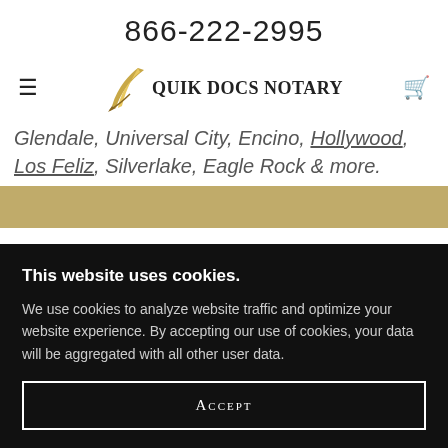866-222-2995
[Figure (logo): Quik Docs Notary logo with a quill pen graphic and the text QUIK DOCS NOTARY]
Glendale, Universal City, Encino, Hollywood, Los Feliz, Silverlake, Eagle Rock & more.
[Figure (photo): Partial photo of a person, partially visible at the bottom of the page behind the cookie banner]
This website uses cookies.
We use cookies to analyze website traffic and optimize your website experience. By accepting our use of cookies, your data will be aggregated with all other user data.
Accept